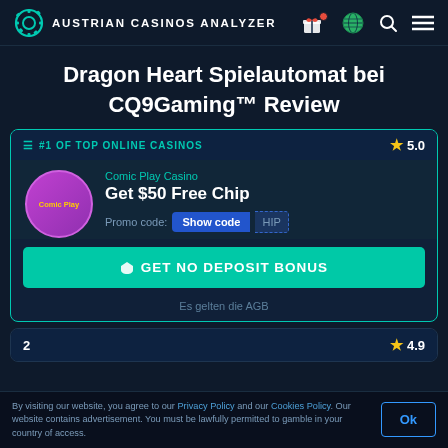AUSTRIAN CASINOS ANALYZER
Dragon Heart Spielautomat bei CQ9Gaming™ Review
[Figure (screenshot): Casino card for Comic Play Casino: #1 of Top Online Casinos, rating 5.0, Get $50 Free Chip, Promo code: Show code, GET NO DEPOSIT BONUS button, Es gelten die AGB]
Es gelten die AGB
[Figure (screenshot): Second casino card stub with rating 4.9]
By visiting our website, you agree to our Privacy Policy and our Cookies Policy. Our website contains advertisement. You must be lawfully permitted to gamble in your country of access.